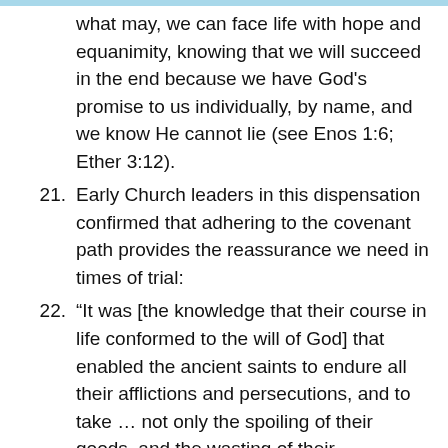what may, we can face life with hope and equanimity, knowing that we will succeed in the end because we have God's promise to us individually, by name, and we know He cannot lie (see Enos 1:6; Ether 3:12).
21. Early Church leaders in this dispensation confirmed that adhering to the covenant path provides the reassurance we need in times of trial:
22. “It was [the knowledge that their course in life conformed to the will of God] that enabled the ancient saints to endure all their afflictions and persecutions, and to take … not only the spoiling of their goods, and the wasting of their substance, joyfully, but also to suffer death in its most horrid forms;